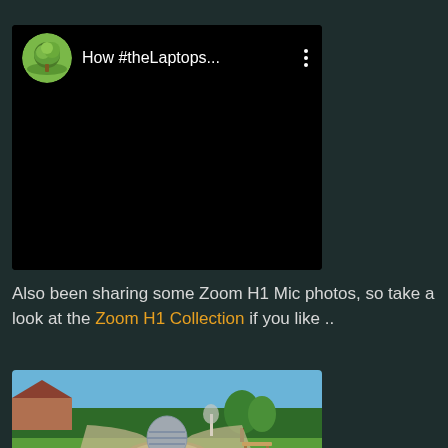[Figure (screenshot): Embedded video card with black background. Shows circular avatar with tree illustration, title text 'How #theLaptops...' and three vertical dots menu icon. Black video player area below.]
Also been sharing some Zoom H1 Mic photos, so take a look at the Zoom H1 Collection if you like ..
[Figure (photo): Outdoor garden photo showing a circular paved area with a large metallic sculptural sphere in the center. Green lawn, hedges, trees, and a bench visible in the background. Blue sky above.]